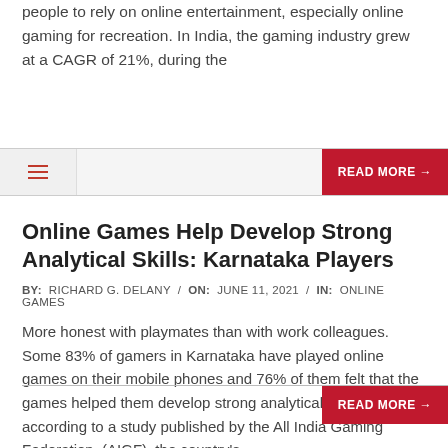people to rely on online entertainment, especially online gaming for recreation. In India, the gaming industry grew at a CAGR of 21%, during the
Online Games Help Develop Strong Analytical Skills: Karnataka Players
BY: RICHARD G. DELANY / ON: JUNE 11, 2021 / IN: ONLINE GAMES
More honest with playmates than with work colleagues. Some 83% of gamers in Karnataka have played online games on their mobile phones and 76% of them felt that the games helped them develop strong analytical skills, according to a study published by the All India Gaming Federation. (AIGF), the country's